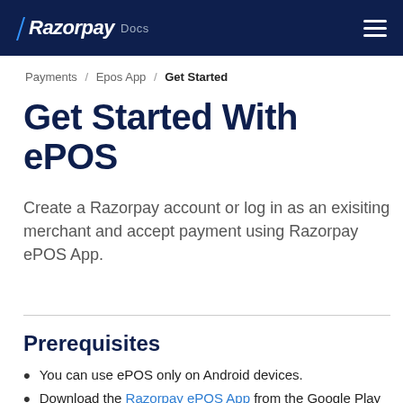Razorpay Docs
Payments / Epos App / Get Started
Get Started With ePOS
Create a Razorpay account or log in as an exisiting merchant and accept payment using Razorpay ePOS App.
Prerequisites
You can use ePOS only on Android devices.
Download the Razorpay ePOS App from the Google Play